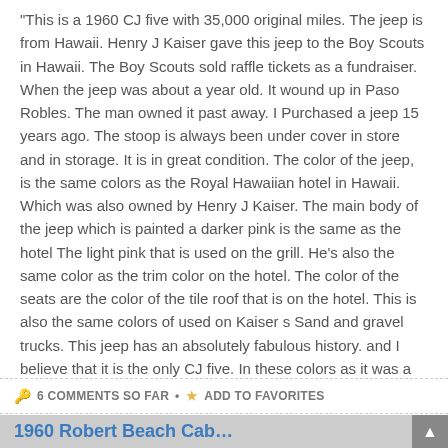“This is a 1960 CJ five with 35,000 original miles. The jeep is from Hawaii. Henry J Kaiser gave this jeep to the Boy Scouts in Hawaii. The Boy Scouts sold raffle tickets as a fundraiser. When the jeep was about a year old. It wound up in Paso Robles. The man owned it past away. I Purchased a jeep 15 years ago. The stoop is always been under cover in store and in storage. It is in great condition. The color of the jeep, is the same colors as the Royal Hawaiian hotel in Hawaii. Which was also owned by Henry J Kaiser. The main body of the jeep which is painted a darker pink is the same as the hotel The light pink that is used on the grill. He’s also the same color as the trim color on the hotel. The color of the seats are the color of the tile roof that is on the hotel. This is also the same colors of used on Kaiser s Sand and gravel trucks. This jeep has an absolutely fabulous history. and I believe that it is the only CJ five. In these colors as it was a special order by Henry J Kaiser and sell.”
6 COMMENTS SO FAR • ADD TO FAVORITES
1960 Robert Beach Cab...